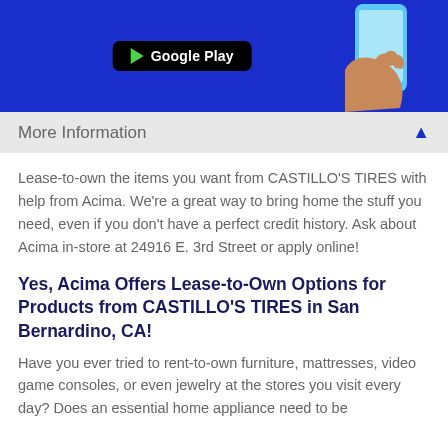[Figure (screenshot): Google Play store banner on blue background with hand holding phone]
More Information
Lease-to-own the items you want from CASTILLO'S TIRES with help from Acima. We're a great way to bring home the stuff you need, even if you don't have a perfect credit history. Ask about Acima in-store at 24916 E. 3rd Street or apply online!
Yes, Acima Offers Lease-to-Own Options for Products from CASTILLO'S TIRES in San Bernardino, CA!
Have you ever tried to rent-to-own furniture, mattresses, video game consoles, or even jewelry at the stores you visit every day? Does an essential home appliance need to be